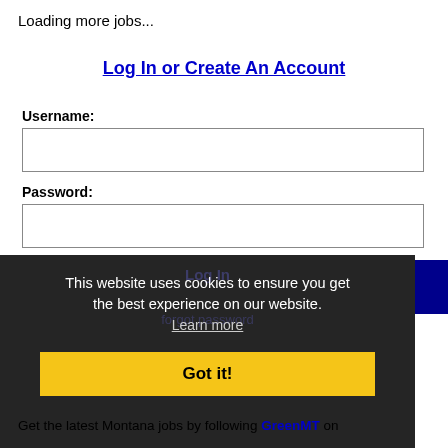Loading more jobs...
Log In or Create An Account
Username:
Password:
This website uses cookies to ensure you get the best experience on our website. Learn more
Got it!
Get the latest Montana jobs by following GreenMT on